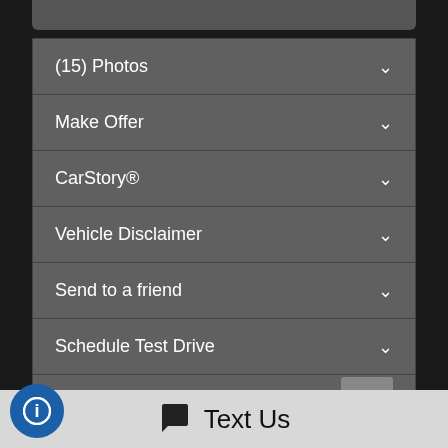(15) Photos
Make Offer
CarStory®
Vehicle Disclaimer
Send to a friend
Schedule Test Drive
Printable Brochure
Text Us